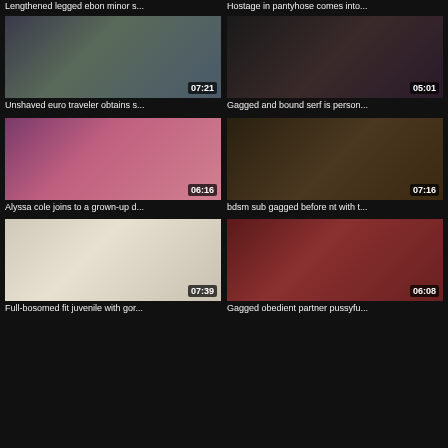Lengthened legged ebon minor s...
Hostage in pantyhose comes into...
[Figure (photo): Video thumbnail showing two people in a room, duration 07:21, watermark RAGING STALLION]
Unshaved euro traveler obtains s...
[Figure (photo): Video thumbnail showing woman in close-up, duration 05:01, watermark BDSM.COM]
Gagged and bound serf is person...
[Figure (photo): Video thumbnail showing women in pink outfit, duration 06:16]
Alyssa cole joins to a grown-up d...
[Figure (photo): Video thumbnail showing restrained person, duration 07:16, watermark fullbondage.com]
bdsm sub gagged before nt with t...
[Figure (photo): Video thumbnail showing woman on couch, duration 07:39, watermark TEENLS]
Full-bosomed fit juvenile with gor...
[Figure (photo): Video thumbnail showing woman close-up, duration 06:08]
Gagged obedient partner pussyfu...